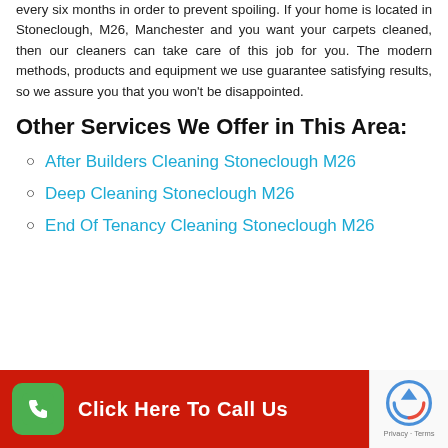every six months in order to prevent spoiling. If your home is located in Stoneclough, M26, Manchester and you want your carpets cleaned, then our cleaners can take care of this job for you. The modern methods, products and equipment we use guarantee satisfying results, so we assure you that you won't be disappointed.
Other Services We Offer in This Area:
After Builders Cleaning Stoneclough M26
Deep Cleaning Stoneclough M26
End Of Tenancy Cleaning Stoneclough M26